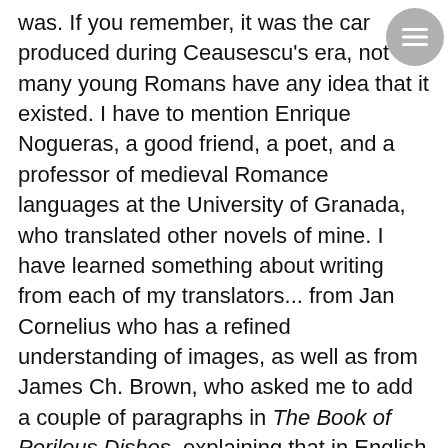was. If you remember, it was the car produced during Ceausescu's era, not many young Romans have any idea that it existed. I have to mention Enrique Nogueras, a good friend, a poet, and a professor of medieval Romance languages at the University of Granada, who translated other novels of mine. I have learned something about writing from each of my translators... from Jan Cornelius who has a refined understanding of images, as well as from James Ch. Brown, who asked me to add a couple of paragraphs in The Book of Perilous Dishes, explaining that in English the episode about Henri Dubois' disappearance was not quite clear.
*IM: Which are the most frequent difficulties when it comes to translating your books? *
DR: Mostly the vocabulary I'm using challenges my translators. A substantial excerpt from The Pharmacist Manuscript [Manuscrisul farmacistului] had...